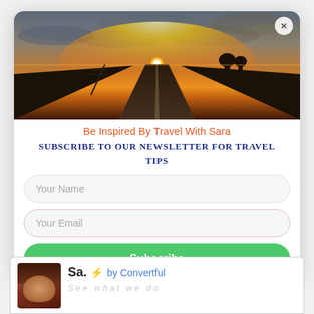[Figure (photo): Sunset photo of a straight road receding to horizon with power lines, dramatic cloudy sky with orange glow at horizon]
×
Be Inspired By Travel With Sara
Subscribe to our Newsletter for Travel Tips
Your Name
Your Email
Subscribe
[Figure (photo): Partial view of a popup widget showing a woman's photo, 'Sa.' text with lightning bolt icon and 'by Convertful' branding]